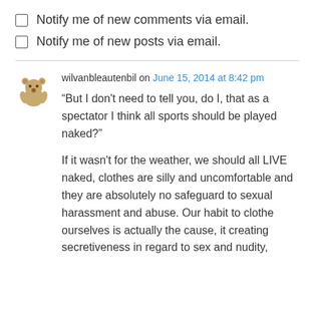Notify me of new comments via email.
Notify me of new posts via email.
wilvanbleautenbil on June 15, 2014 at 8:42 pm
“But I don’t need to tell you, do I, that as a spectator I think all sports should be played naked?”
If it wasn’t for the weather, we should all LIVE naked, clothes are silly and uncomfortable and they are absolutely no safeguard to sexual harassment and abuse. Our habit to clothe ourselves is actually the cause, it creating secretiveness in regard to sex and nudity,